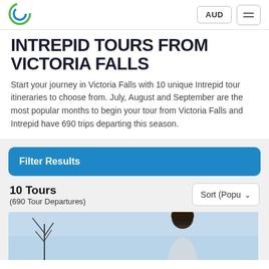AUD | menu
INTREPID TOURS FROM VICTORIA FALLS
Start your journey in Victoria Falls with 10 unique Intrepid tour itineraries to choose from. July, August and September are the most popular months to begin your tour from Victoria Falls and Intrepid have 690 trips departing this season.
Filter Results
10 Tours
(690 Tour Departures)
[Figure (photo): Partial photo of a person wearing sunglasses outdoors with trees in background]